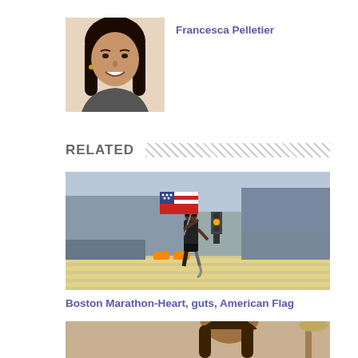[Figure (photo): Headshot of Francesca Pelletier, a woman with long dark hair smiling]
Francesca Pelletier
RELATED
[Figure (photo): A runner with a prosthetic leg carrying an American flag during the Boston Marathon, crowd lining the street]
Boston Marathon-Heart, guts, American Flag
[Figure (photo): Partial photo of a person, bottom of page]